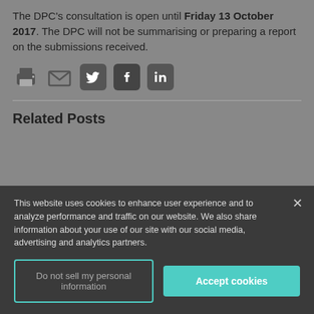The DPC's consultation is open until Friday 13 October 2017. The DPC will not be summarising or preparing a report on the submissions received.
[Figure (infographic): Row of social sharing icons: printer, email, Twitter, Facebook, LinkedIn]
Related Posts
This website uses cookies to enhance user experience and to analyze performance and traffic on our website. We also share information about your use of our site with our social media, advertising and analytics partners.